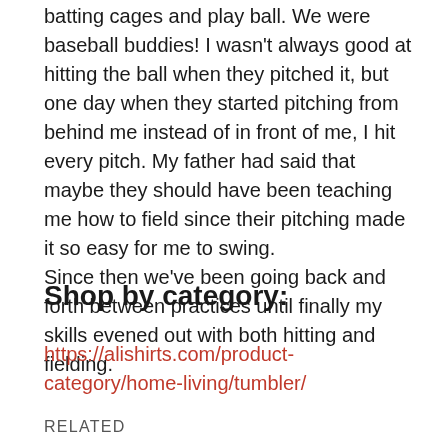batting cages and play ball. We were baseball buddies! I wasn't always good at hitting the ball when they pitched it, but one day when they started pitching from behind me instead of in front of me, I hit every pitch. My father had said that maybe they should have been teaching me how to field since their pitching made it so easy for me to swing.
Since then we've been going back and forth between practices until finally my skills evened out with both hitting and fielding.
Shop by category:
https://alishirts.com/product-category/home-living/tumbler/
RELATED